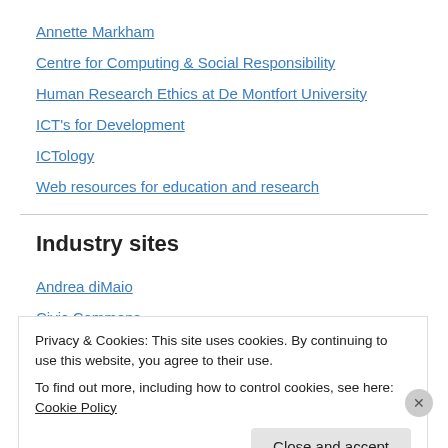Annette Markham
Centre for Computing & Social Responsibility
Human Research Ethics at De Montfort University
ICT's for Development
ICTology
Web resources for education and research
Industry sites
Andrea diMaio
Civic Commons
Collective Responsibility
Privacy & Cookies: This site uses cookies. By continuing to use this website, you agree to their use.
To find out more, including how to control cookies, see here: Cookie Policy
Close and accept